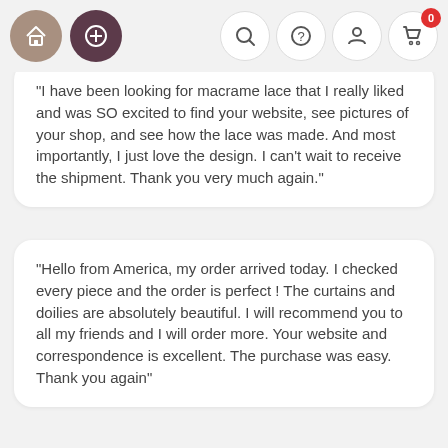Navigation bar with home, plus, search, help, account, and cart (0) icons
"I have been looking for macrame lace that I really liked and was SO excited to find your website, see pictures of your shop, and see how the lace was made. And most importantly, I just love the design. I can't wait to receive the shipment. Thank you very much again."
"Hello from America, my order arrived today. I checked every piece and the order is perfect ! The curtains and doilies are absolutely beautiful. I will recommend you to all my friends and I will order more. Your website and correspondence is excellent. The purchase was easy. Thank you again"